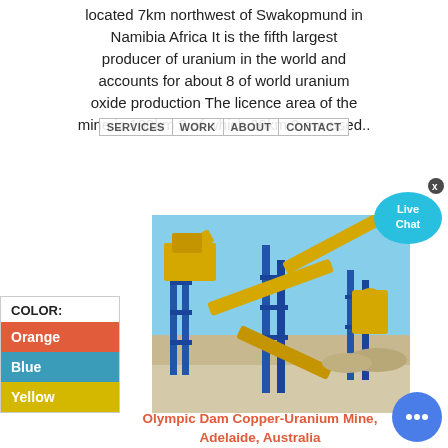located 7km northwest of Swakopmund in Namibia Africa It is the fifth largest producer of uranium in the world and accounts for about 8 of world uranium oxide production The licence area of the mine is 180km 2 of which 20km 2 are used..
[Figure (photo): Mining conveyor belt system with yellow equipment and blue steel structure at a mine site, blue sky background]
COLOR:
Orange
Blue
Yellow
Olympic Dam Copper-Uranium Mine, Adelaide, Australia